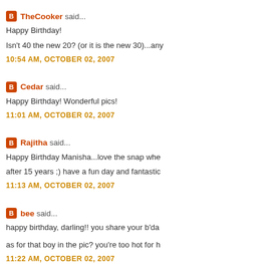TheCooker said... Happy Birthday! Isn't 40 the new 20? (or it is the new 30)...any 10:54 AM, OCTOBER 02, 2007
Cedar said... Happy Birthday! Wonderful pics! 11:01 AM, OCTOBER 02, 2007
Rajitha said... Happy Birthday Manisha...love the snap whe after 15 years ;) have a fun day and fantastic 11:13 AM, OCTOBER 02, 2007
bee said... happy birthday, darling!! you share your b'da as for that boy in the pic? you're too hot for h 11:22 AM, OCTOBER 02, 2007